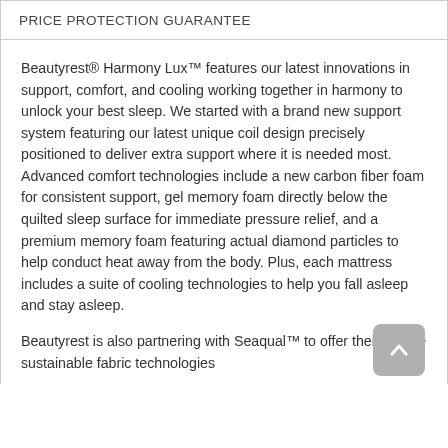PRICE PROTECTION GUARANTEE
Beautyrest® Harmony Lux™ features our latest innovations in support, comfort, and cooling working together in harmony to unlock your best sleep. We started with a brand new support system featuring our latest unique coil design precisely positioned to deliver extra support where it is needed most. Advanced comfort technologies include a new carbon fiber foam for consistent support, gel memory foam directly below the quilted sleep surface for immediate pressure relief, and a premium memory foam featuring actual diamond particles to help conduct heat away from the body. Plus, each mattress includes a suite of cooling technologies to help you fall asleep and stay asleep.
Beautyrest is also partnering with Seaqual™ to offer their unique sustainable fabric technologies